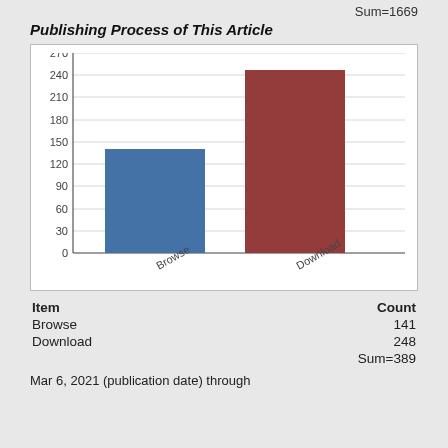Sum=1669
Publishing Process of This Article
[Figure (bar-chart): Publishing Process of This Article]
| Item | Count |
| --- | --- |
| Browse | 141 |
| Download | 248 |
|  | Sum=389 |
Mar 6, 2021 (publication date) through